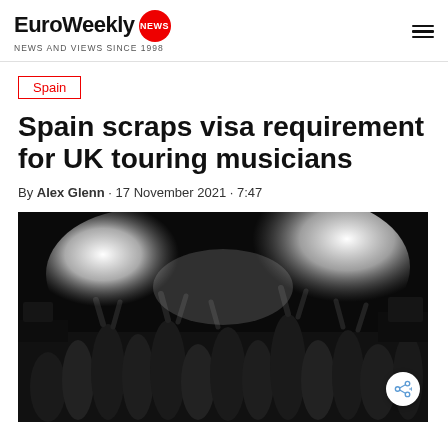EuroWeekly NEWS · NEWS AND VIEWS SINCE 1998
Spain
Spain scraps visa requirement for UK touring musicians
By Alex Glenn · 17 November 2021 · 7:47
[Figure (photo): Crowd of concert-goers with hands raised at a live music event, bright stage lights and smoke in the background]